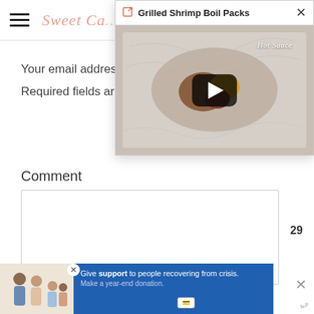Sweet Ca... (Sweet Cayenne - website header with hamburger menu and site name)
[Figure (screenshot): Video popup overlay showing 'Grilled Shrimp Boil Packs' with thumbnail image of foil pack with food, play button, close button, and hot sauce label]
Your email addres...
Required fields ar...
Comment
[Figure (screenshot): Comment text area input box, empty]
[Figure (infographic): Floating heart/like button (salmon color) with count 29 and share button]
[Figure (screenshot): Advertisement banner at bottom: Give support to people recovering from crisis. Make a year-end donation. With family photo on left and blue background text area. Close X button. WP logo bottom right.]